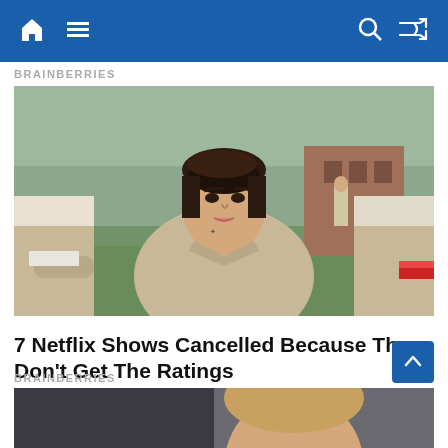BRAINBERRIES navigation bar with home, menu, search and shuffle icons
BRAINBERRIES
[Figure (photo): A person with short dark hair wearing a beige prison jumpsuit, sitting outdoors on grass with a prison yard in the background. Other people in similar uniforms are visible on the sides.]
7 Netflix Shows Cancelled Because They Don't Get The Ratings
BRAINBERRIES
[Figure (photo): Partial view of another article image at the bottom of the page, showing a person's face cropped.]